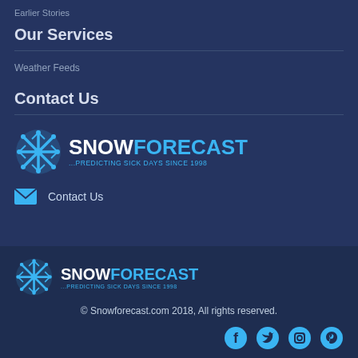Earlier Stories
Our Services
Weather Feeds
Contact Us
[Figure (logo): SnowForecast logo with snowflake icon and tagline ...PREDICTING SICK DAYS SINCE 1998]
Contact Us
[Figure (logo): SnowForecast footer logo with snowflake icon and tagline ...PREDICTING SICK DAYS SINCE 1998]
© Snowforecast.com 2018, All rights reserved.
[Figure (infographic): Social media icons: Facebook, Twitter, Instagram, Pinterest]